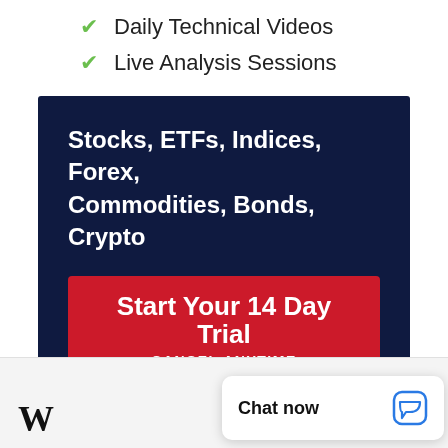Daily Technical Videos
Live Analysis Sessions
[Figure (infographic): Dark navy blue promotional banner for a financial analysis service. Text reads: 'Stocks, ETFs, Indices, Forex, Commodities, Bonds, Crypto' with a red call-to-action button: 'Start Your 14 Day Trial / CANCEL ANYTIME']
Chat now
[Figure (logo): Partial logo with bold serif letters visible at bottom left]